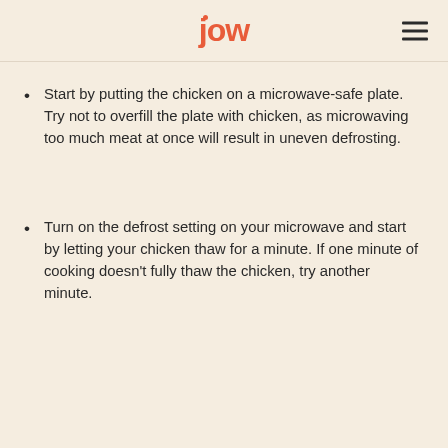jow
Start by putting the chicken on a microwave-safe plate. Try not to overfill the plate with chicken, as microwaving too much meat at once will result in uneven defrosting.
Turn on the defrost setting on your microwave and start by letting your chicken thaw for a minute. If one minute of cooking doesn't fully thaw the chicken, try another minute.